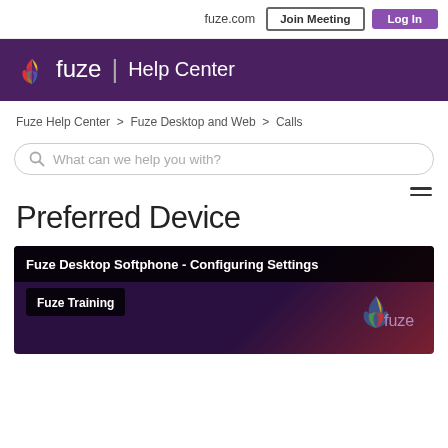fuze.com  Join Meeting  Log In
[Figure (logo): Fuze Help Center logo with colorful flame icon on purple background]
Fuze Help Center > Fuze Desktop and Web > Calls
What can we help you with?
Preferred Device
[Figure (screenshot): Video thumbnail for Fuze Desktop Softphone - Configuring Settings, with Fuze Training label and Fuze logo on purple background]